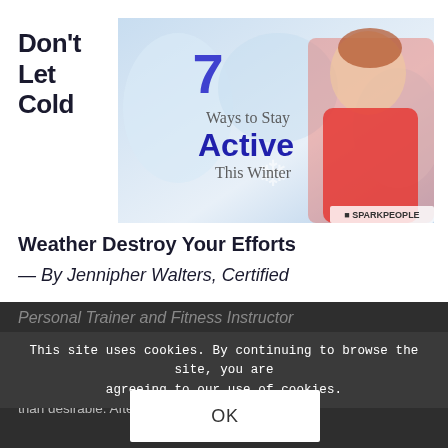Don't Let Cold Weather Destroy Your Efforts — By Jennipher Walters, Certified Personal Trainer and Fitness Instructor
[Figure (photo): Image with text overlay: '7 Ways to Stay Active This Winter' with a woman in a red winter jacket and sparkpeople.com branding]
Baby, it's col... e, winter weather can sometim... rking out seem less than desirable. After a... o dress like a
This site uses cookies. By continuing to browse the site, you are agreeing to our use of cookies.
OK